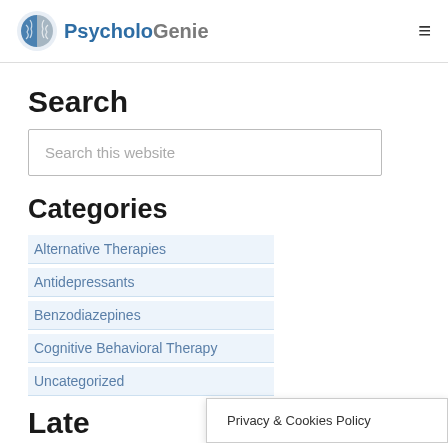PsycholoGenie
Search
Search this website
Categories
Alternative Therapies
Antidepressants
Benzodiazepines
Cognitive Behavioral Therapy
Uncategorized
Late…
Privacy & Cookies Policy